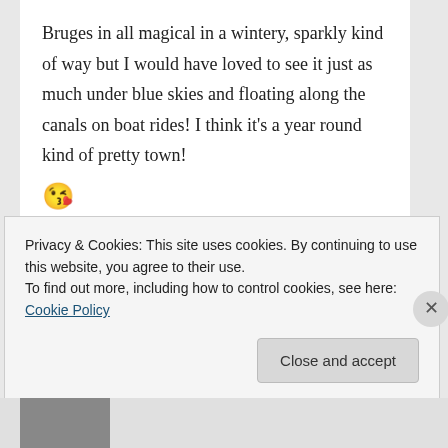Bruges in all magical in a wintery, sparkly kind of way but I would have loved to see it just as much under blue skies and floating along the canals on boat rides! I think it’s a year round kind of pretty town! 😘
REPLY
Privacy & Cookies: This site uses cookies. By continuing to use this website, you agree to their use.
To find out more, including how to control cookies, see here: Cookie Policy
Close and accept